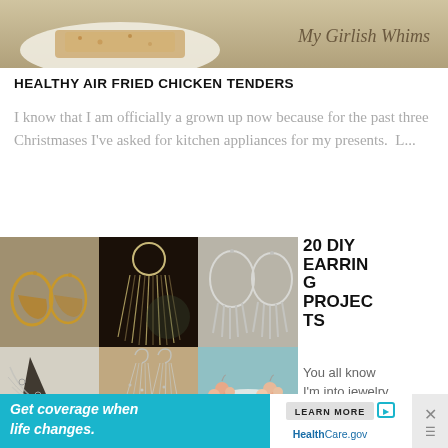[Figure (photo): Top portion of a blog post thumbnail photo showing a plate with food (chicken tenders), with watermark text 'My Girlish Whims' in cursive at top right]
HEALTHY AIR FRIED CHICKEN TENDERS
I know that I am officially a grown up now because for the past three Christmases I've asked for kitchen appliances for my presents.  L...
[Figure (photo): 3x2 image grid showing 6 photos of DIY earring projects: gold wire hoop earrings, dark beaded fringe necklace/earrings, silver spike drop earrings, chain mesh earrings, delicate silver chain earrings, and pink/orange pearl cluster earrings]
20 DIY EARRING PROJECTS
You all know I'm into jewelry
[Figure (screenshot): Advertisement banner at bottom: teal background with 'Get coverage when life changes.' in white italic text, LEARN MORE button, HealthCare.gov logo, and X close button]